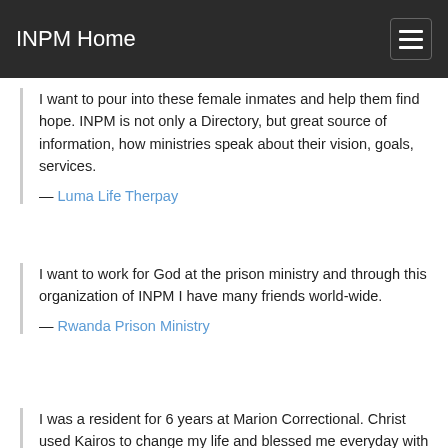INPM Home
I want to pour into these female inmates and help them find hope. INPM is not only a Directory, but great source of information, how ministries speak about their vision, goals, services.
— Luma Life Therpay
I want to work for God at the prison ministry and through this organization of INPM I have many friends world-wide.
— Rwanda Prison Ministry
I was a resident for 6 years at Marion Correctional. Christ used Kairos to change my life and blessed me everyday with the knowledge that He loves me and forgives me. He has led me and taught me to become